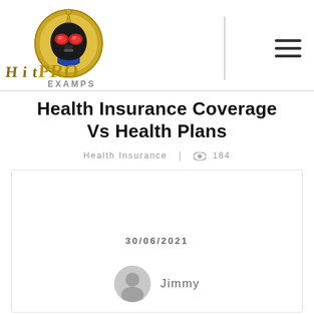[Figure (logo): Hit Pro Examps logo with masked superhero figure and gold stylized text]
Health Insurance Coverage Vs Health Plans
Health Insurance | 184 views
30/06/2021
Jimmy